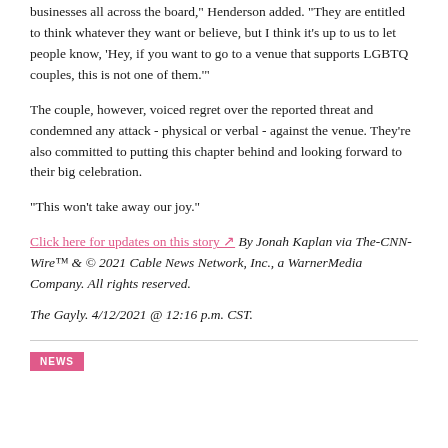businesses all across the board," Henderson added. "They are entitled to think whatever they want or believe, but I think it's up to us to let people know, 'Hey, if you want to go to a venue that supports LGBTQ couples, this is not one of them.'"
The couple, however, voiced regret over the reported threat and condemned any attack - physical or verbal - against the venue. They're also committed to putting this chapter behind and looking forward to their big celebration.
"This won't take away our joy."
Click here for updates on this story [link] By Jonah Kaplan via The-CNN-Wire™ & © 2021 Cable News Network, Inc., a WarnerMedia Company. All rights reserved.
The Gayly. 4/12/2021 @ 12:16 p.m. CST.
NEWS